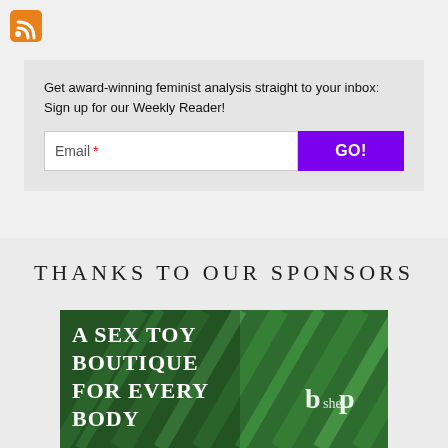[Figure (logo): RSS feed orange icon in top left corner]
Get award-winning feminist analysis straight to your inbox: Sign up for our Weekly Reader!
THANKS TO OUR SPONSORS
[Figure (illustration): Advertisement banner with green plant leaves background and white bold text reading 'A SEX TOY BOUTIQUE FOR EVERY BODY' with 'bop' logo in bottom right]